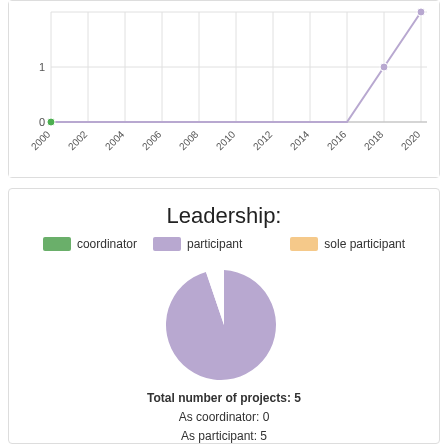[Figure (line-chart): ]
Leadership:
[Figure (pie-chart): ]
Total number of projects: 5
As coordinator: 0
As participant: 5